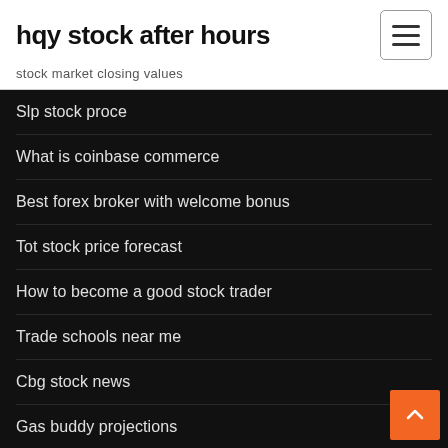hqy stock after hours
stock market closing values
Slp stock proce
What is coinbase commerce
Best forex broker with welcome bonus
Tot stock price forecast
How to become a good stock trader
Trade schools near me
Cbg stock news
Gas buddy projections
Chase investing 101
Bitcoin article in tamil